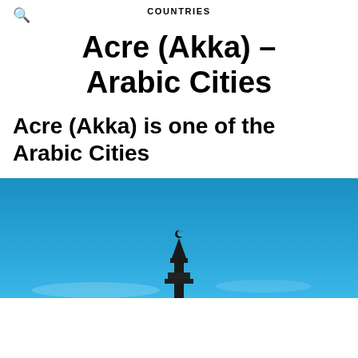COUNTRIES
Acre (Akka) – Arabic Cities
Acre (Akka) is one of the Arabic Cities
[Figure (photo): Photo of a minaret or tower against a bright blue sky, partially cropped at the bottom of the page.]